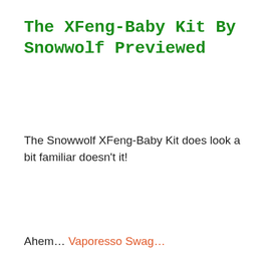The XFeng-Baby Kit By Snowwolf Previewed
The Snowwolf XFeng-Baby Kit does look a bit familiar doesn't it!
Ahem… Vaporesso Swag…